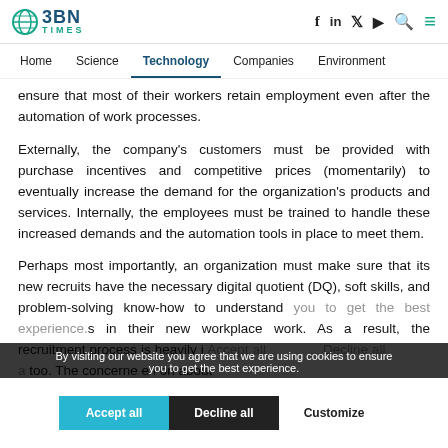BBN TIMES — Home | Science | Technology | Companies | Environment
ensure that most of their workers retain employment even after the automation of work processes.
Externally, the company's customers must be provided with purchase incentives and competitive prices (momentarily) to eventually increase the demand for the organization's products and services. Internally, the employees must be trained to handle these increased demands and the automation tools in place to meet them.
Perhaps most importantly, an organization must make sure that its new recruits have the necessary digital quotient (DQ), soft skills, and problem-solving know-how to understand you to get the best experience. in their new workplace work. As a result, the recruitment process is heavily i. a too. The concerne. ei. on about
By visiting our website you agree that we are using cookies to ensure you to get the best experience.